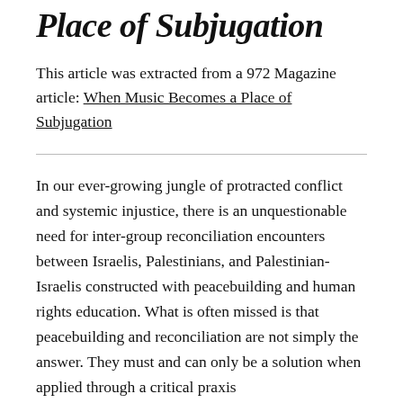Place of Subjugation
This article was extracted from a 972 Magazine article: When Music Becomes a Place of Subjugation
In our ever-growing jungle of protracted conflict and systemic injustice, there is an unquestionable need for inter-group reconciliation encounters between Israelis, Palestinians, and Palestinian-Israelis constructed with peacebuilding and human rights education. What is often missed is that peacebuilding and reconciliation are not simply the answer. They must and can only be a solution when applied through a critical praxis